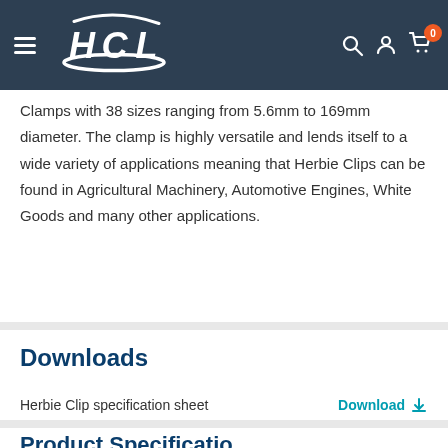HCL — navigation bar with logo, search, account, and cart icons
Clamps with 38 sizes ranging from 5.6mm to 169mm diameter. The clamp is highly versatile and lends itself to a wide variety of applications meaning that Herbie Clips can be found in Agricultural Machinery, Automotive Engines, White Goods and many other applications.
Downloads
Herbie Clip specification sheet   Download
Product Specificatio…